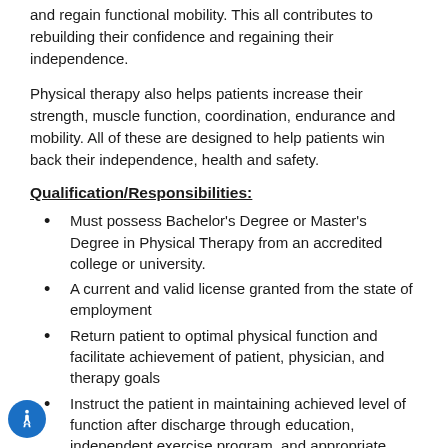and regain functional mobility. This all contributes to rebuilding their confidence and regaining their independence.
Physical therapy also helps patients increase their strength, muscle function, coordination, endurance and mobility. All of these are designed to help patients win back their independence, health and safety.
Qualification/Responsibilities:
Must possess Bachelor's Degree or Master's Degree in Physical Therapy from an accredited college or university.
A current and valid license granted from the state of employment
Return patient to optimal physical function and facilitate achievement of patient, physician, and therapy goals
Instruct the patient in maintaining achieved level of function after discharge through education, independent exercise program, and appropriate activity modification.
Shifts and Wages: